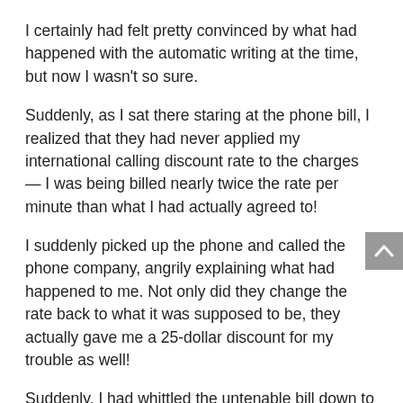I certainly had felt pretty convinced by what had happened with the automatic writing at the time, but now I wasn't so sure.
Suddenly, as I sat there staring at the phone bill, I realized that they had never applied my international calling discount rate to the charges — I was being billed nearly twice the rate per minute than what I had actually agreed to!
I suddenly picked up the phone and called the phone company, angrily explaining what had happened to me. Not only did they change the rate back to what it was supposed to be, they actually gave me a 25-dollar discount for my trouble as well!
Suddenly, I had whittled the untenable bill down to a manageable 75 dollars! I was amazed that I hadn't noticed this before, and I started to feel much better about the entire situation. I actually did have enough money to afford this.
Right after this, my friend Chris called up, talking about his own struggles with drinking alcohol and his desire to quit. I